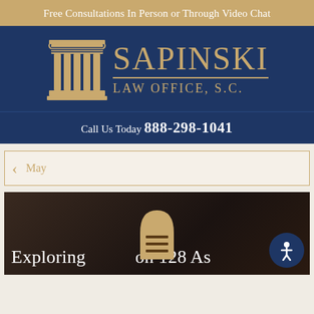Free Consultations In Person or Through Video Chat
[Figure (logo): Sapinski Law Office S.C. logo with a classical column illustration and gold text on dark blue background]
Call Us Today  888-298-1041
◂ May
[Figure (screenshot): Dark background image with white text reading 'Exploring on 128 As...' and a golden arch/menu icon overlay and accessibility button]